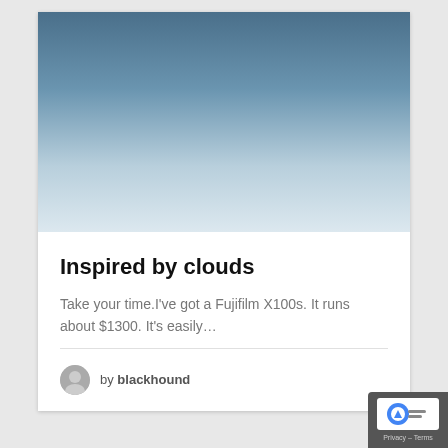[Figure (photo): Sky photo with gradient from steel blue at top to pale blue-white at bottom, representing clouds or sky.]
Inspired by clouds
Take your time.I've got a Fujifilm X100s. It runs about $1300. It's easily…
by blackhound